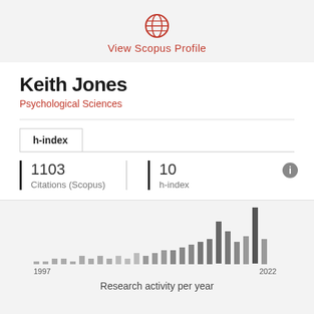[Figure (logo): Globe/world icon in red representing Scopus profile link]
View Scopus Profile
Keith Jones
Psychological Sciences
h-index
1103
Citations (Scopus)
10
h-index
[Figure (bar-chart): Research activity per year]
Research activity per year